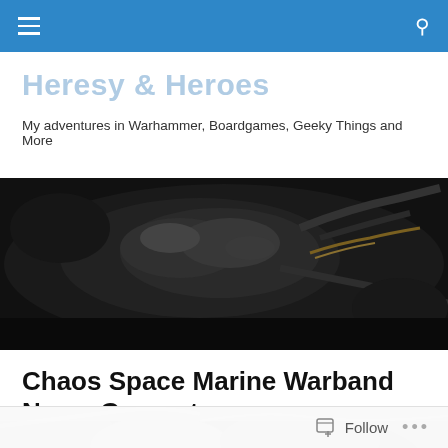Navigation bar with hamburger menu and search icon
Heresy & Heroes
My adventures in Warhammer, Boardgames, Geeky Things and More
[Figure (photo): Dark close-up photo of a Warhammer miniature, a detailed creature/monster figure with intricate metallic and organic textures against a dark background]
Chaos Space Marine Warband Name Generators
[Figure (photo): Partial view of a Warhammer illustration showing a dark fantasy warrior/space marine figure]
Follow  •••